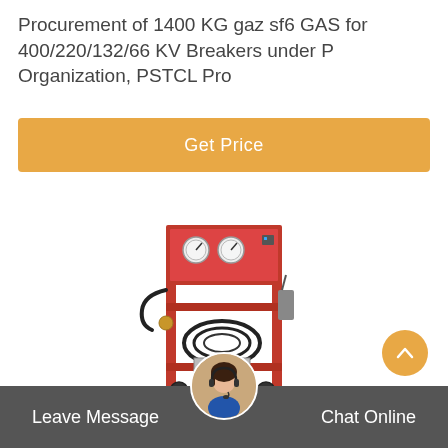Procurement of 1400 KG gaz sf6 GAS for 400/220/132/66 KV Breakers under P Organization, PSTCL Pro
Get Price
[Figure (photo): Red industrial SF6 gas handling trolley/cart with gauges, hoses and cylinder on wheels]
[Figure (photo): Customer service representative avatar with headset]
Leave Message    Chat Online